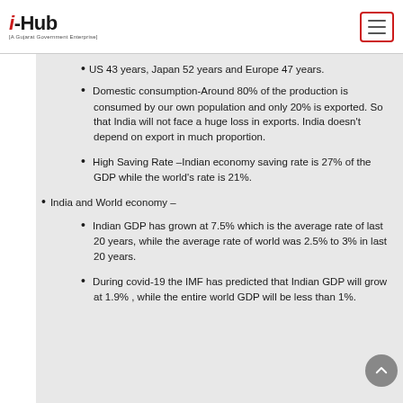i-Hub | A Gujarat Government Enterprise
US 43 years, Japan 52 years and Europe 47 years.
Domestic consumption-Around 80% of the production is consumed by our own population and only 20% is exported. So that India will not face a huge loss in exports. India doesn't depend on export in much proportion.
High Saving Rate –Indian economy saving rate is 27% of the GDP while the world's rate is 21%.
India and World economy –
Indian GDP has grown at 7.5% which is the average rate of last 20 years, while the average rate of world was 2.5% to 3% in last 20 years.
During covid-19 the IMF has predicted that Indian GDP will grow at 1.9% , while the entire world GDP will be less than 1%.